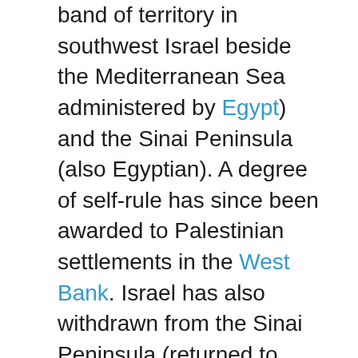band of territory in southwest Israel beside the Mediterranean Sea administered by Egypt) and the Sinai Peninsula (also Egyptian). A degree of self-rule has since been awarded to Palestinian settlements in the West Bank. Israel has also withdrawn from the Sinai Peninsula (returned to Egypt) and the Gaza Strip (now administered by the Palestine Liberation Organisation and containing several vast Arab refugee camps).
Israel occupies a long narrow stretch of land in the southeast of the Mediterranean. Its eastern boundary is formed by the Great Rift Valley through which the River Jordan flows to the Dead Sea. The River Jordan, the Sea of